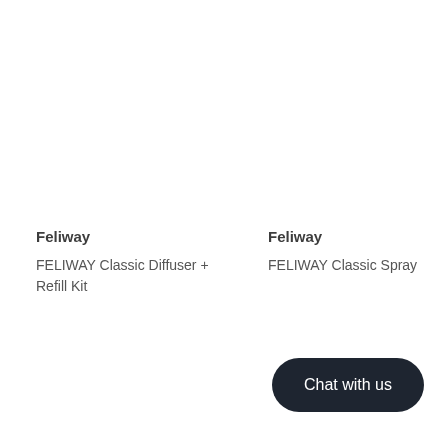Feliway
FELIWAY Classic Diffuser + Refill Kit
Feliway
FELIWAY Classic Spray
Chat with us